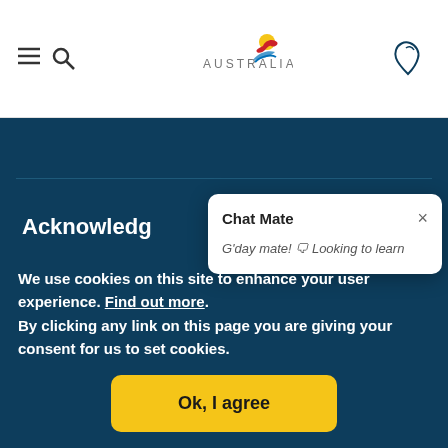Australia tourism website header with menu/search icon, Australia logo, and map icon
Acknowledg
[Figure (screenshot): Chat Mate popup dialog with close button and text: G'day mate! Looking to learn]
We use cookies on this site to enhance your user experience. Find out more. By clicking any link on this page you are giving your consent for us to set cookies.
Ok, I agree